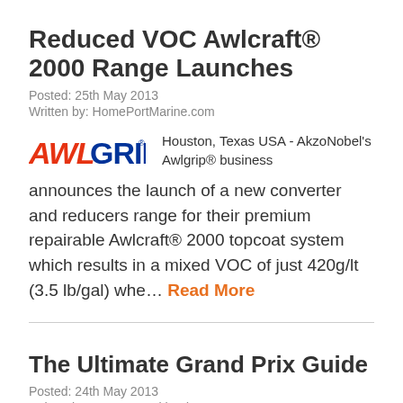Reduced VOC Awlcraft® 2000 Range Launches
Posted: 25th May 2013
Written by: HomePortMarine.com
[Figure (logo): AWLGRIP logo in red and blue italic/bold text]
Houston, Texas USA - AkzoNobel's Awlgrip® business announces the launch of a new converter and reducers range for their premium repairable Awlcraft® 2000 topcoat system which results in a mixed VOC of just 420g/lt (3.5 lb/gal) whe… Read More
The Ultimate Grand Prix Guide
Posted: 24th May 2013
Written by: James Frankland – Eurosport